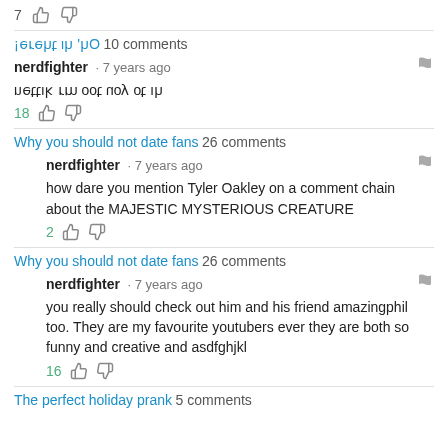7 [thumbs up] [thumbs down]
¡ǝɹǝɥʇ ıɥ 'ɥO 10 comments
nerdfighter · 7 years ago
uǝʇʇıʞ ɹɯ ooʇ noʎ oʇ ıɥ
18 [thumbs up] [thumbs down]
Why you should not date fans 26 comments
nerdfighter · 7 years ago
how dare you mention Tyler Oakley on a comment chain about the MAJESTIC MYSTERIOUS CREATURE
2 [thumbs up] [thumbs down]
Why you should not date fans 26 comments
nerdfighter · 7 years ago
you really should check out him and his friend amazingphil too. They are my favourite youtubers ever they are both so funny and creative and asdfghjkl
16 [thumbs up] [thumbs down]
The perfect holiday prank 5 comments